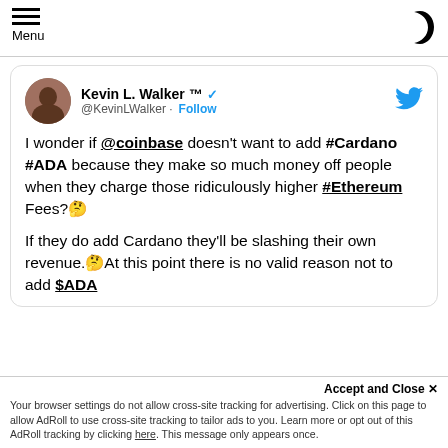Menu
Kevin L. Walker ™ @KevinLWalker · Follow
I wonder if @coinbase doesn't want to add #Cardano #ADA because they make so much money off people when they charge those ridiculously higher #Ethereum Fees?🤔

If they do add Cardano they'll be slashing their own revenue.🤔At this point there is no valid reason not to add $ADA
Accept and Close ✕
Your browser settings do not allow cross-site tracking for advertising. Click on this page to allow AdRoll to use cross-site tracking to tailor ads to you. Learn more or opt out of this AdRoll tracking by clicking here. This message only appears once.